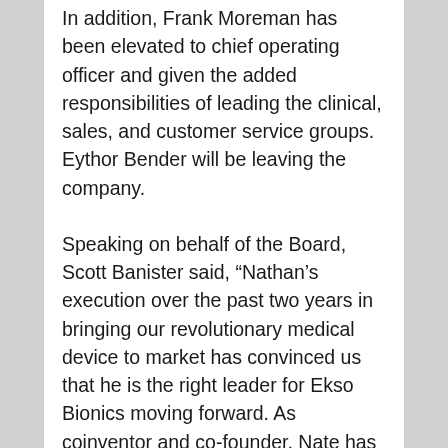In addition, Frank Moreman has been elevated to chief operating officer and given the added responsibilities of leading the clinical, sales, and customer service groups. Eythor Bender will be leaving the company.
Speaking on behalf of the Board, Scott Banister said, “Nathan’s execution over the past two years in bringing our revolutionary medical device to market has convinced us that he is the right leader for Ekso Bionics moving forward. As coinventor and co-founder, Nate has a deep understanding of our technology and market opportunities, and we believe he will make the right decisions as we continue to grow.”
Harding said, “I am honored and excited to lead one of the most exciting teams in the